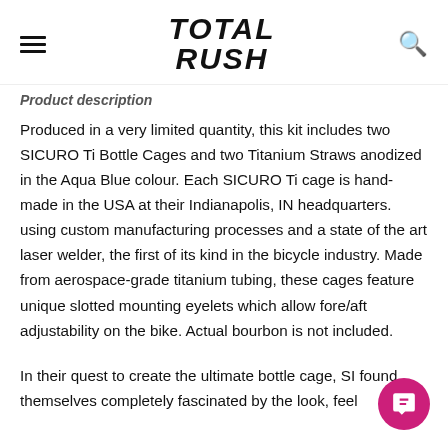TOTAL RUSH
Product description
Produced in a very limited quantity, this kit includes two SICURO Ti Bottle Cages and two Titanium Straws anodized in the Aqua Blue colour. Each SICURO Ti cage is hand-made in the USA at their Indianapolis, IN headquarters. using custom manufacturing processes and a state of the art laser welder, the first of its kind in the bicycle industry. Made from aerospace-grade titanium tubing, these cages feature unique slotted mounting eyelets which allow fore/aft adjustability on the bike. Actual bourbon is not included.
In their quest to create the ultimate bottle cage, SI found themselves completely fascinated by the look, feel